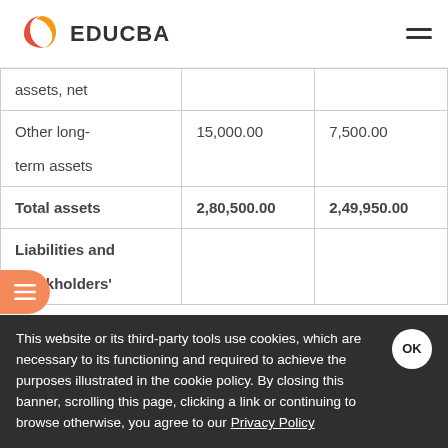EDUCBA
|  | Col1 | Col2 |
| --- | --- | --- |
| assets, net |  |  |
| Other long-term assets | 15,000.00 | 7,500.00 |
| Total assets | 2,80,500.00 | 2,49,950.00 |
| Liabilities and stockholders' |  |  |
This website or its third-party tools use cookies, which are necessary to its functioning and required to achieve the purposes illustrated in the cookie policy. By closing this banner, scrolling this page, clicking a link or continuing to browse otherwise, you agree to our Privacy Policy